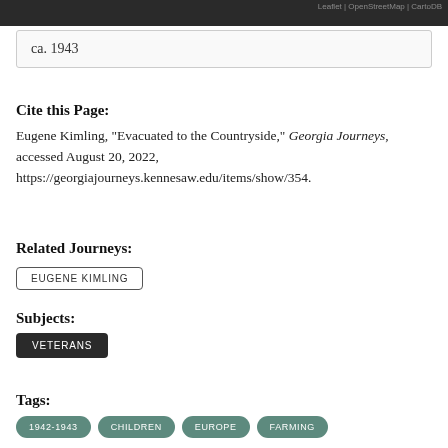[Figure (map): Partial map view with dark strip at top, with attribution 'Leaflet | OpenStreetMap | CartoDB' at upper right]
ca. 1943
Cite this Page:
Eugene Kimling, "Evacuated to the Countryside," Georgia Journeys, accessed August 20, 2022, https://georgiajourneys.kennesaw.edu/items/show/354.
Related Journeys:
EUGENE KIMLING
Subjects:
VETERANS
Tags:
1942-1943
CHILDREN
EUROPE
FARMING